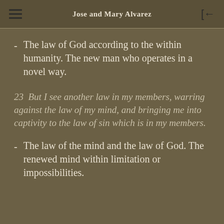Jose and Mary Alvarez
The law of God according to the within humanity. The new man who operates in a novel way.
23  But I see another law in my members, warring against the law of my mind, and bringing me into captivity to the law of sin which is in my members.
The law of the mind and the law of God. The renewed mind within limitation or impossibilities.